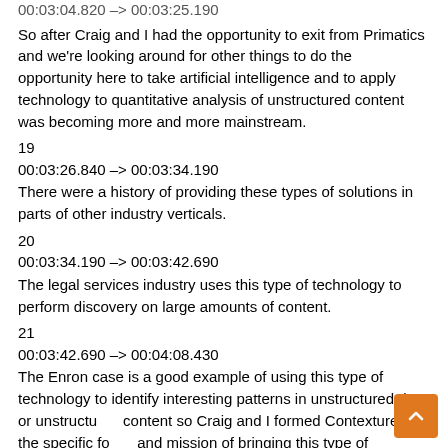00:03:04.820 --> 00:03:25.190
So after Craig and I had the opportunity to exit from Primatics and we're looking around for other things to do the opportunity here to take artificial intelligence and to apply technology to quantitative analysis of unstructured content was becoming more and more mainstream.
19
00:03:26.840 --> 00:03:34.190
There were a history of providing these types of solutions in parts of other industry verticals.
20
00:03:34.190 --> 00:03:42.690
The legal services industry uses this type of technology to perform discovery on large amounts of content.
21
00:03:42.690 --> 00:04:08.430
The Enron case is a good example of using this type of technology to identify interesting patterns in unstructured data or unstructured content so Craig and I formed Contexture with the specific focus and mission of bringing this type of technology into the unstructured